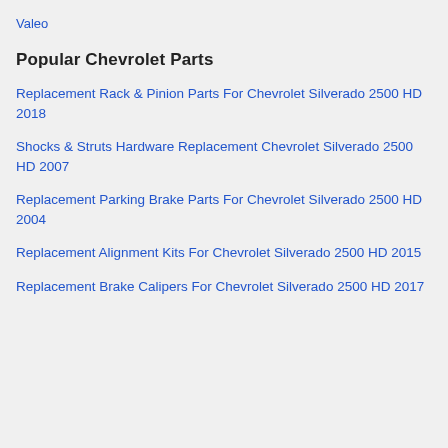Valeo
Popular Chevrolet Parts
Replacement Rack & Pinion Parts For Chevrolet Silverado 2500 HD 2018
Shocks & Struts Hardware Replacement Chevrolet Silverado 2500 HD 2007
Replacement Parking Brake Parts For Chevrolet Silverado 2500 HD 2004
Replacement Alignment Kits For Chevrolet Silverado 2500 HD 2015
Replacement Brake Calipers For Chevrolet Silverado 2500 HD 2017